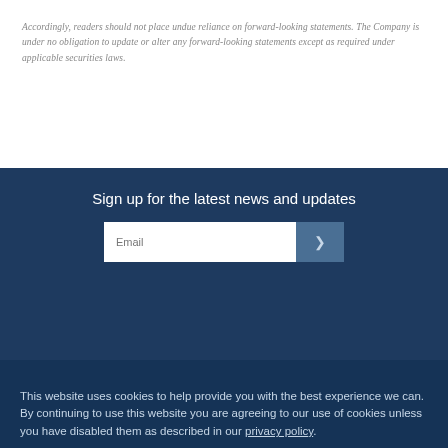Accordingly, readers should not place undue reliance on forward-looking statements. The Company is under no obligation to update or alter any forward-looking statements except as required under applicable securities laws.
Sign up for the latest news and updates
This website uses cookies to help provide you with the best experience we can. By continuing to use this website you are agreeing to our use of cookies unless you have disabled them as described in our privacy policy.
Designed & Powered by BLENDER
Legal
Privacy Policy
© 2022 Entrée Resources Ltd. All Rights Reserved